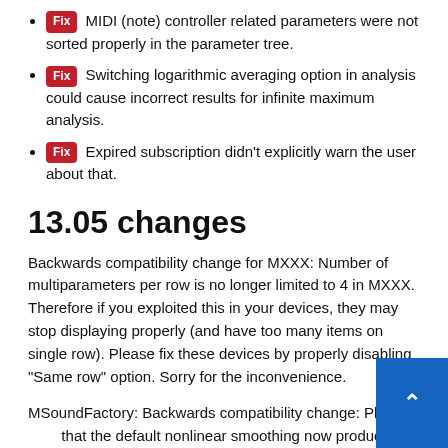Fix MIDI (note) controller related parameters were not sorted properly in the parameter tree.
Fix Switching logarithmic averaging option in analysis could cause incorrect results for infinite maximum analysis.
Fix Expired subscription didn't explicitly warn the user about that.
13.05 changes
Backwards compatibility change for MXXX: Number of multiparameters per row is no longer limited to 4 in MXXX. Therefore if you exploited this in your devices, they may stop displaying properly (and have too many items on single row). Please fix these devices by properly disabling "Same row" option. Sorry for the inconvenience.
MSoundFactory: Backwards compatibility change: Please note that the default nonlinear smoothing now produces different smoothing behaviour and hence the template all instruments should be adjusted to have 10ms as default smoothing time